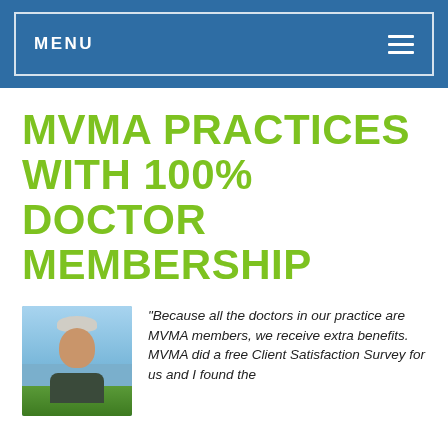MENU
MVMA PRACTICES WITH 100% DOCTOR MEMBERSHIP
[Figure (photo): Portrait photo of a middle-aged man with gray hair, smiling, wearing a dark jacket, outdoors with blue sky and green grass in background]
"Because all the doctors in our practice are MVMA members, we receive extra benefits. MVMA did a free Client Satisfaction Survey for us and I found the